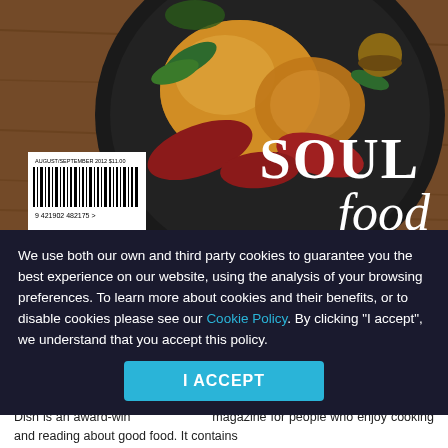[Figure (photo): Magazine back cover showing a cast iron skillet with roasted chicken, bacon and herbs on a wooden surface. Text overlay reads 'SOUL food' in large white letters. Barcode in lower left with number 9421902 482175 and date AUGUST/SEPTEMBER 2012 $11.00.]
We use both our own and third party cookies to guarantee you the best experience on our website, using the analysis of your browsing preferences. To learn more about cookies and their benefits, or to disable cookies please see our Cookie Policy. By clicking "I accept", we understand that you accept this policy.
I ACCEPT
Dish is an award-winning magazine for people who enjoy cooking and reading about good food. It contains